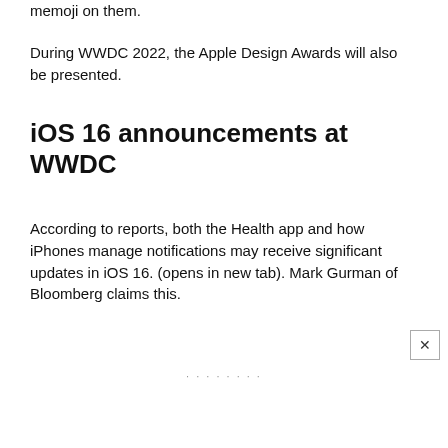memoji on them.
During WWDC 2022, the Apple Design Awards will also be presented.
iOS 16 announcements at WWDC
According to reports, both the Health app and how iPhones manage notifications may receive significant updates in iOS 16. (opens in new tab). Mark Gurman of Bloomberg claims this.